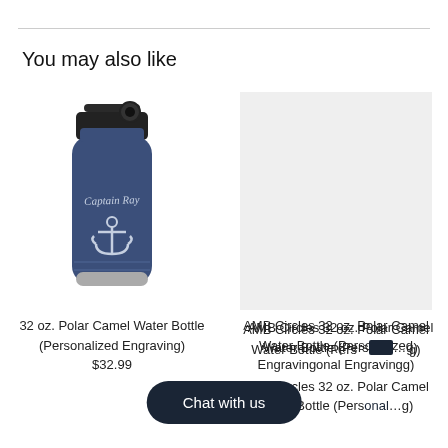You may also like
[Figure (photo): Navy blue 32 oz. Polar Camel insulated water bottle with black flip-top lid, engraved with 'Captain Ray' text and anchor design]
[Figure (photo): Light gray placeholder image for AMB Circles 32 oz. Polar Camel Water Bottle]
32 oz. Polar Camel Water Bottle (Personalized Engraving)
$32.99
AMB Circles 32 oz. Polar Camel Water Bottle (Personalized Engraving)
Chat with us